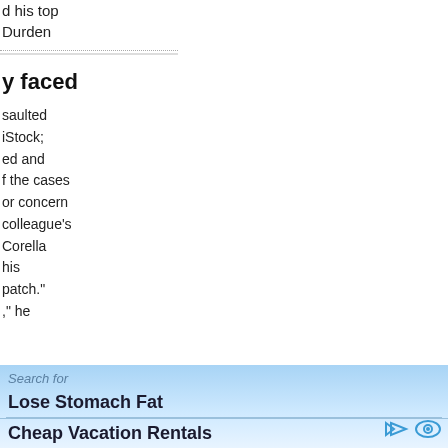d his top
Durden
y faced
saulted
iStock;
ed and
f the cases
or concern
colleague's
Corella
his
patch."
," he
Search for
Lose Stomach Fat
Cheap Vacation Rentals